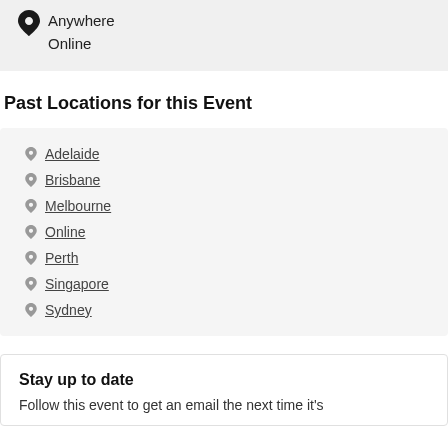Anywhere
Online
Past Locations for this Event
Adelaide
Brisbane
Melbourne
Online
Perth
Singapore
Sydney
Stay up to date
Follow this event to get an email the next time it's